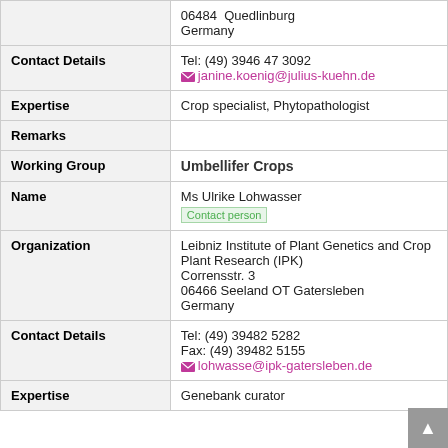| Field | Value |
| --- | --- |
|  | 06484  Quedlinburg
Germany |
| Contact Details | Tel: (49) 3946 47 3092
janine.koenig@julius-kuehn.de |
| Expertise | Crop specialist, Phytopathologist |
| Remarks |  |
| Working Group | Umbellifer Crops |
| Name | Ms Ulrike Lohwasser
Contact person |
| Organization | Leibniz Institute of Plant Genetics and Crop Plant Research (IPK)
Corrensstr. 3
06466 Seeland OT Gatersleben
Germany |
| Contact Details | Tel: (49) 39482 5282
Fax: (49) 39482 5155
lohwasse@ipk-gatersleben.de |
| Expertise | Genebank curator |